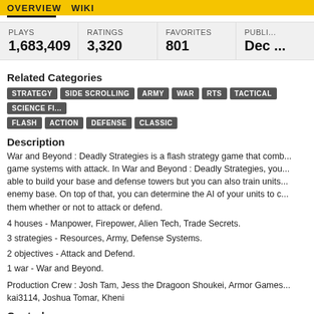OVERVIEW  WIKI
| PLAYS | RATINGS | FAVORITES | PUBLI... |
| --- | --- | --- | --- |
| 1,683,409 | 3,320 | 801 | Dec ... |
Related Categories
STRATEGY  SIDE SCROLLING  ARMY  WAR  RTS  TACTICAL  SCIENCE FI...  FLASH  ACTION  DEFENSE  CLASSIC
Description
War and Beyond : Deadly Strategies is a flash strategy game that comb... game systems with attack. In War and Beyond : Deadly Strategies, you... able to build your base and defense towers but you can also train units... enemy base. On top of that, you can determine the AI of your units to c... them whether or not to attack or defend.
4 houses - Manpower, Firepower, Alien Tech, Trade Secrets.
3 strategies - Resources, Army, Defense Systems.
2 objectives - Attack and Defend.
1 war - War and Beyond.
Production Crew : Josh Tam, Jess the Dragoon Shoukei, Armor Games... kai3114, Joshua Tomar, Kheni
Controls